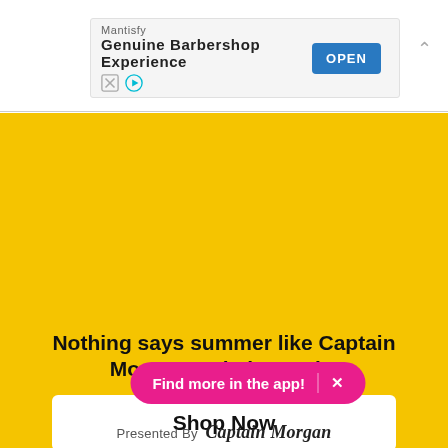[Figure (screenshot): Mobile advertisement banner for Mantisfy app — 'Genuine Barbershop Experience' with an OPEN button, ad icons, and chevron collapse arrow]
[Figure (illustration): Large yellow background section representing a Captain Morgan promotional page]
Nothing says summer like Captain Morgan and pineapple.
Shop Now
Find more in the app!
Presented By Captain Morgan